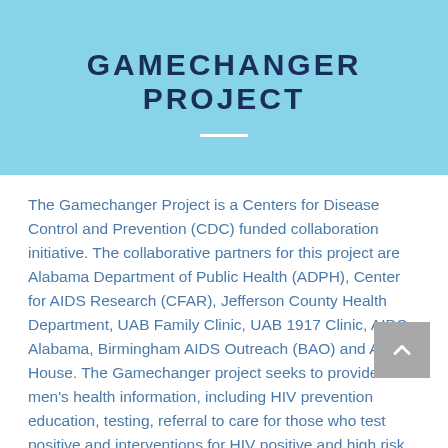GAMECHANGER PROJECT
The Gamechanger Project is a Centers for Disease Control and Prevention (CDC) funded collaboration initiative. The collaborative partners for this project are Alabama Department of Public Health (ADPH), Center for AIDS Research (CFAR), Jefferson County Health Department, UAB Family Clinic, UAB 1917 Clinic, AIDS Alabama, Birmingham AIDS Outreach (BAO) and Alethia House. The Gamechanger project seeks to provide men's health information, including HIV prevention education, testing, referral to care for those who test positive and interventions for HIV positive and high risk HIV negative young men who have sex with men (MSM) of co... the project will